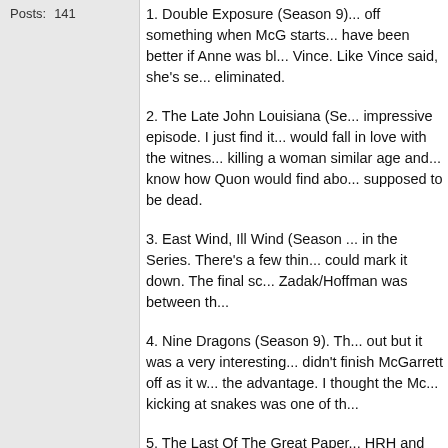Posts: 141
1. Double Exposure (Season 9)... off something when McG starts... have been better if Anne was bl... Vince. Like Vince said, she's se... eliminated.
2. The Late John Louisiana (Se... impressive episode. I just find it... would fall in love with the witnes... killing a woman similar age and... know how Quon would find abo... supposed to be dead.
3. East Wind, Ill Wind (Season... in the Series. There's a few thin... could mark it down. The final sc... Zadak/Hoffman was between th...
4. Nine Dragons (Season 9). Th... out but it was a very interesting... didn't finish McGarrett off as it w... the advantage. I thought the Mc... kicking at snakes was one of th...
5. The Last Of The Great Paper... HRH and there's not many flaws... mean-spirited at the end to call... The scene where they duplicate... bank was perfection.